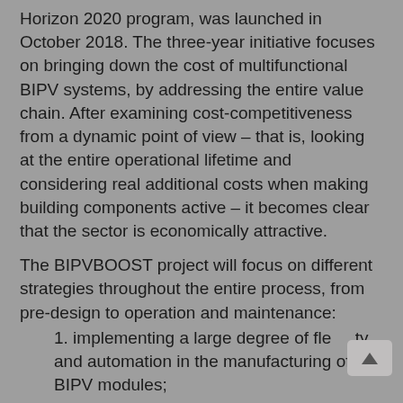Horizon 2020 program, was launched in October 2018. The three-year initiative focuses on bringing down the cost of multifunctional BIPV systems, by addressing the entire value chain. After examining cost-competitiveness from a dynamic point of view – that is, looking at the entire operational lifetime and considering real additional costs when making building components active – it becomes clear that the sector is economically attractive.
The BIPVBOOST project will focus on different strategies throughout the entire process, from pre-design to operation and maintenance:
1. implementing a large degree of flexibility and automation in the manufacturing of BIPV modules;